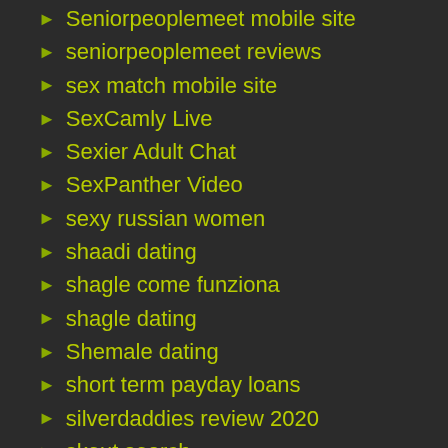Seniorpeoplemeet mobile site
seniorpeoplemeet reviews
sex match mobile site
SexCamly Live
Sexier Adult Chat
SexPanther Video
sexy russian women
shaadi dating
shagle come funziona
shagle dating
Shemale dating
short term payday loans
silverdaddies review 2020
skout search
small payday loans